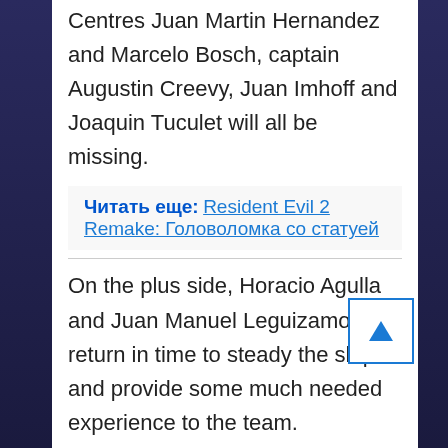Centres Juan Martin Hernandez and Marcelo Bosch, captain Augustin Creevy, Juan Imhoff and Joaquin Tuculet will all be missing.
Читать еще: Resident Evil 2 Remake: Головоломка со статуей
On the plus side, Horacio Agulla and Juan Manuel Leguizamon return in time to steady the ship and provide some much needed experience to the team.
For the South Africans, Heyneke Meyer has